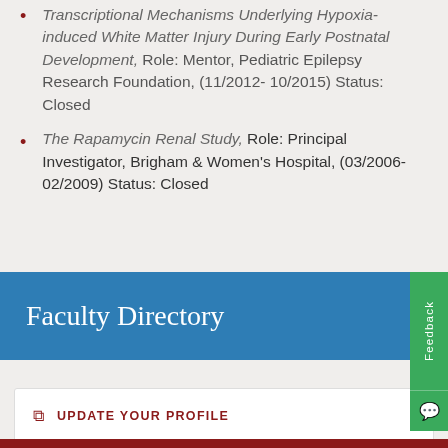Transcriptional Mechanisms Underlying Hypoxia-induced White Matter Injury During Early Postnatal Development, Role: Mentor, Pediatric Epilepsy Research Foundation, (11/2012- 10/2015) Status: Closed
The Rapamycin Renal Study, Role: Principal Investigator, Brigham & Women's Hospital, (03/2006-02/2009) Status: Closed
Faculty Directory
UPDATE YOUR PROFILE